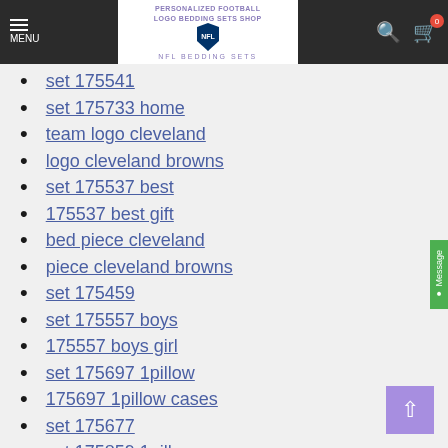PERSONALIZED FOOTBALL LOGO BEDDING SETS SHOP | NFL BEDDING SETS
set 175541
set 175733 home
team logo cleveland
logo cleveland browns
set 175537 best
175537 best gift
bed piece cleveland
piece cleveland browns
set 175459
set 175557 boys
175557 boys girl
set 175697 1pillow
175697 1pillow cases
set 175677
set 175859 1pillow
175859 1pillow cases
print cleveland browns
set 175763